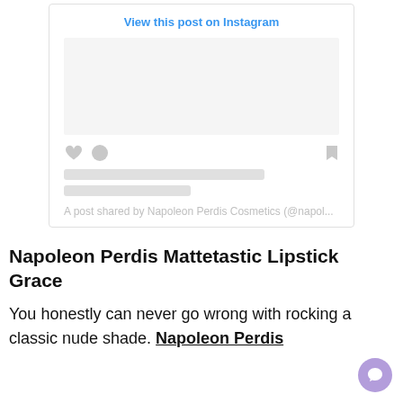[Figure (screenshot): Instagram embed placeholder showing 'View this post on Instagram' link, a placeholder image area, action icons (heart, comment, bookmark), two grey loading bars, and attribution text 'A post shared by Napoleon Perdis Cosmetics (@napol...']
Napoleon Perdis Mattetastic Lipstick Grace
You honestly can never go wrong with rocking a classic nude shade. Napoleon Perdis